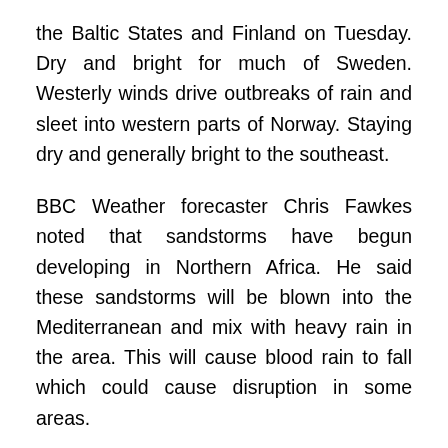the Baltic States and Finland on Tuesday. Dry and bright for much of Sweden. Westerly winds drive outbreaks of rain and sleet into western parts of Norway. Staying dry and generally bright to the southeast.
BBC Weather forecaster Chris Fawkes noted that sandstorms have begun developing in Northern Africa. He said these sandstorms will be blown into the Mediterranean and mix with heavy rain in the area. This will cause blood rain to fall which could cause disruption in some areas.
Mr Fawkes said: "We have got some sandstorms across northern Libya at the moment where we have got some strong winds. Those sandstorms are